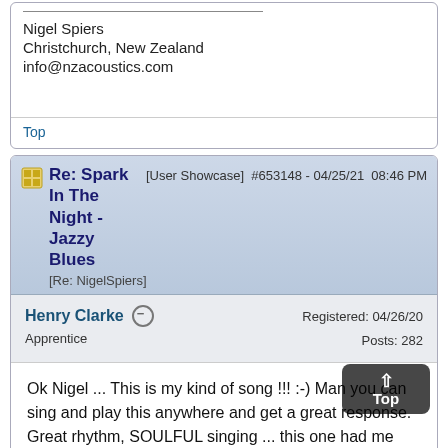Nigel Spiers
Christchurch, New Zealand
info@nzacoustics.com
Top
Re: Spark In The Night - Jazzy Blues [User Showcase] #653148 - 04/25/21 08:46 PM [Re: NigelSpiers]
Henry Clarke
Apprentice
Registered: 04/26/20
Posts: 282
Ok Nigel ... This is my kind of song !!! :-) Man you can sing and play this anywhere and get a great response. Great rhythm, SOULFUL singing ... this one had me tapping my foot and rocking my head back and forth. One of the best blues songs I've heard on the forum. Playing is excellent and SHE CAN SING !! I actually smiled when I clicked on it. Also thanks for NOT posting lyrics. I don't need to read lyrics. Its a song and